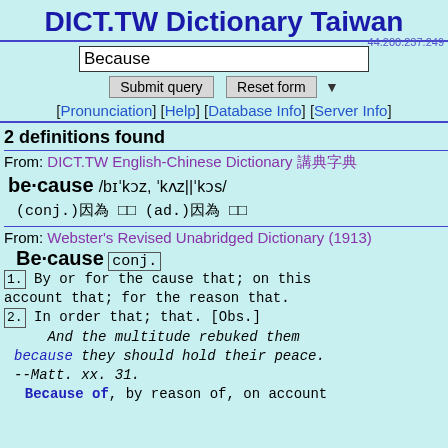DICT.TW Dictionary Taiwan
44.200.237.249
Because
Submit query | Reset form
[Pronunciation] [Help] [Database Info] [Server Info]
2 definitions found
From: DICT.TW English-Chinese Dictionary 英漢字典
be·cause /bɪˈkɔz, ˈkʌz||ˈkɔs/ (conj.)因為 (ad.)因為
From: Webster's Revised Unabridged Dictionary (1913)
Be·cause conj. 1. By or for the cause that; on this account that; for the reason that. 2. In order that; that. [Obs.] And the multitude rebuked them because they should hold their peace. --Matt. xx. 31. Because of, by reason of, on account